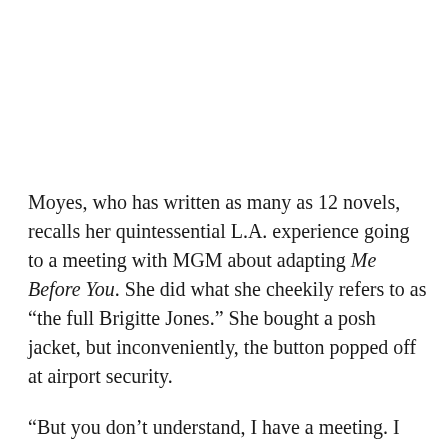Moyes, who has written as many as 12 novels, recalls her quintessential L.A. experience going to a meeting with MGM about adapting Me Before You. She did what she cheekily refers to as “the full Brigitte Jones.” She bought a posh jacket, but inconveniently, the button popped off at airport security.
“But you don’t understand, I have a meeting. I can’t go in without a button,” she tried to reason with the officer. “Move along ma’am,” he barked. The scene repeated, until she said, “I’m going to a meeting in hollywood.” That’s when everything changed. “Hold on, find the button, find the